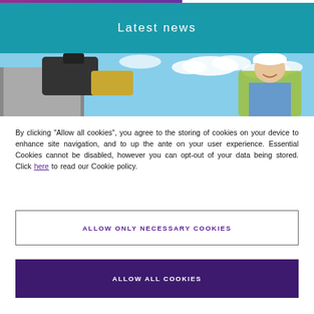Latest news
[Figure (photo): Construction site photo: a smiling man in a yellow high-visibility vest and white hard hat, standing in front of construction equipment and a building under a partly cloudy sky.]
By clicking “Allow all cookies”, you agree to the storing of cookies on your device to enhance site navigation, and to up the ante on your user experience. Essential Cookies cannot be disabled, however you can opt-out of your data being stored. Click here to read our Cookie policy.
ALLOW ONLY NECESSARY COOKIES
ALLOW ALL COOKIES